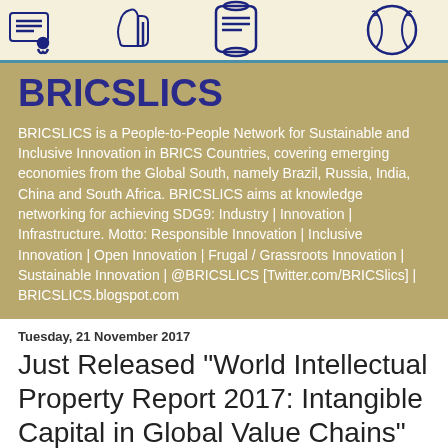[Figure (illustration): Decorative header banner with blue illustrated icons on a cream/beige background, including what appears to be a diploma/scroll, a hand gesture, a rolled document, and a baseball, all in a navy blue outline style.]
BRICSLICS
BRICSLICS is a People-to-People Network for Sustainable and Inclusive Innovation in BRICS Countries, covering emerging economies from the Global South, namely Brazil, Russia, India, China and South Africa. BRICSLICS aims at knowledge networking for achieving SDG9: Industry | Innovation | Infrastructure. Motto: Responsible Innovation | Inclusive Innovation | Open Innovation | Frugal / Grassroots Innovation | Sustainable Innovation | @BRICSLICS [Twitter.com/BRICSlics] | BRICSLICS.blogspot.com
Tuesday, 21 November 2017
Just Released "World Intellectual Property Report 2017: Intangible Capital in Global Value Chains"
World Intellectual Property Report 2017: Intangible